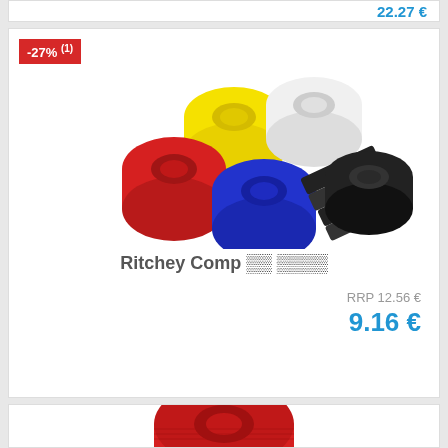22.27 €
-27% (1)
[Figure (photo): Five rolls of handlebar tape in yellow, white, red, blue, and black colors, arranged in a cluster on white background.]
Ritchey Comp [handlebar tape]
RRP 12.56 €
9.16 €
[Figure (photo): Partial view of a red roll of handlebar tape at the bottom of the page.]